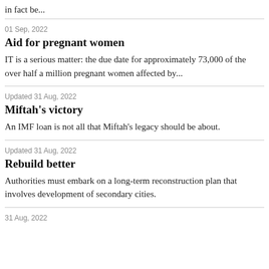in fact be...
01 Sep, 2022
Aid for pregnant women
IT is a serious matter: the due date for approximately 73,000 of the over half a million pregnant women affected by...
Updated 31 Aug, 2022
Miftah's victory
An IMF loan is not all that Miftah's legacy should be about.
Updated 31 Aug, 2022
Rebuild better
Authorities must embark on a long-term reconstruction plan that involves development of secondary cities.
31 Aug, 2022